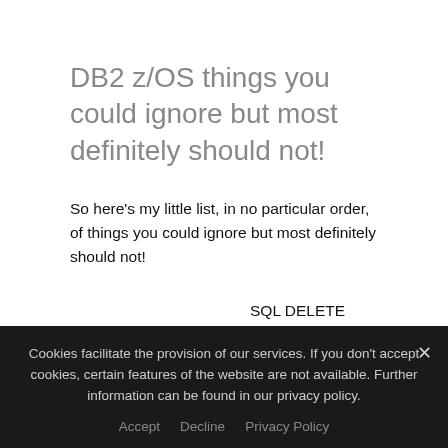DB2 z/OS things you could ignore but most definitely should not!
So here's my little list, in no particular order, of things you could ignore but most definitely should not!
SQL DELETE statements in mega-million tables when a REORG DISCARD would kill two birds with one stone. (I love that phrase) Anyway, after 500,000
SQL DELETE statements in
Cookies facilitate the provision of our services. If you don't accept cookies, certain features of the website are not available. Further information can be found in our privacy policy.
Accept   Decline   Privacy Policy